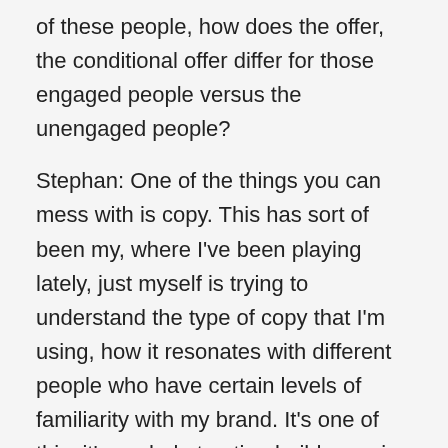of these people, how does the offer, the conditional offer differ for those engaged people versus the unengaged people?
Stephan: One of the things you can mess with is copy. This has sort of been my, where I've been playing lately, just myself is trying to understand the type of copy that I'm using, how it resonates with different people who have certain levels of familiarity with my brand. It's one of this, it's a whole trusting build exercise obviously with us as email as marketers. The copy we use is so incredibly important. I've found that as you become more familiar with the person that is sending you emails, the more that person can